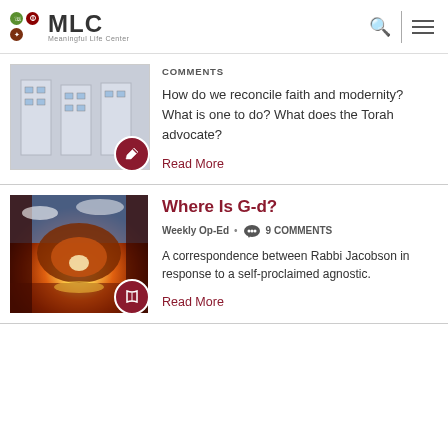MLC Meaningful Life Center
COMMENTS
How do we reconcile faith and modernity? What is one to do? What does the Torah advocate?
Read More
Where Is G-d?
Weekly Op-Ed • 9 COMMENTS
A correspondence between Rabbi Jacobson in response to a self-proclaimed agnostic.
Read More